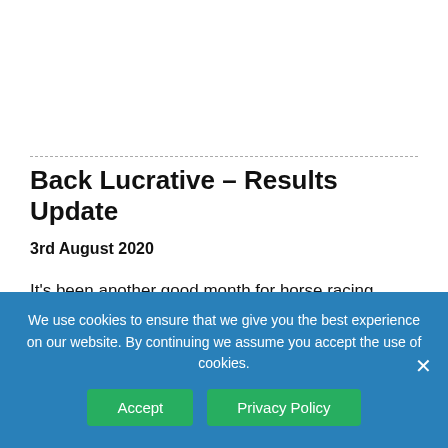Back Lucrative – Results Update
3rd August 2020
It's been another good month for horse racing service Back Lucrative, with 44 points profit made at advised prices since our last update.
We use cookies to ensure that we give you the best experience on our website. By continuing we assume you accept the use of cookies.